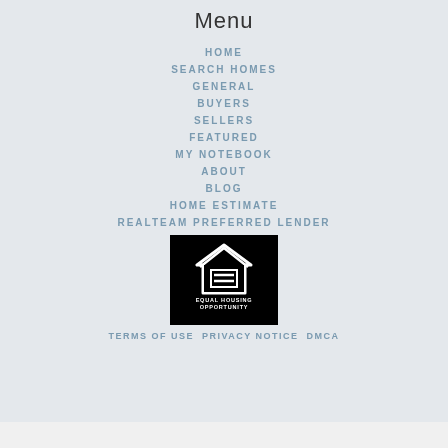Menu
HOME
SEARCH HOMES
GENERAL
BUYERS
SELLERS
FEATURED
MY NOTEBOOK
ABOUT
BLOG
HOME ESTIMATE
REALTEAM PREFERRED LENDER
[Figure (logo): Equal Housing Opportunity logo — white house icon with equals sign on black background, text reading EQUAL HOUSING OPPORTUNITY]
TERMS OF USE  PRIVACY NOTICE  DMCA